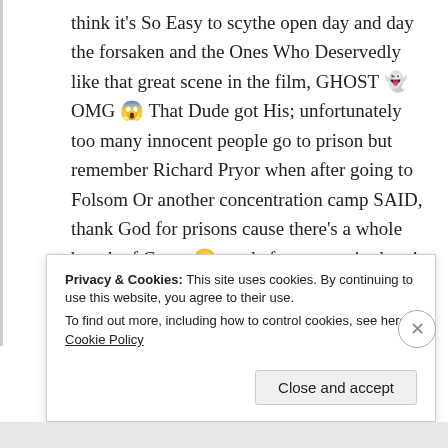think it's So Easy to scythe open day and day the forsaken and the Ones Who Deservedly like that great scene in the film, GHOST 👻 OMG 😱 That Dude got His; unfortunately too many innocent people go to prison but remember Richard Pryor when after going to Folsom Or another concentration camp SAID, thank God for prisons cause there's a whole bunch of Crazy 😜 muthafuggers up in there! Phew!🙏🐕♓
★ Liked by 1 person
Privacy & Cookies: This site uses cookies. By continuing to use this website, you agree to their use.
To find out more, including how to control cookies, see here: Cookie Policy
Close and accept